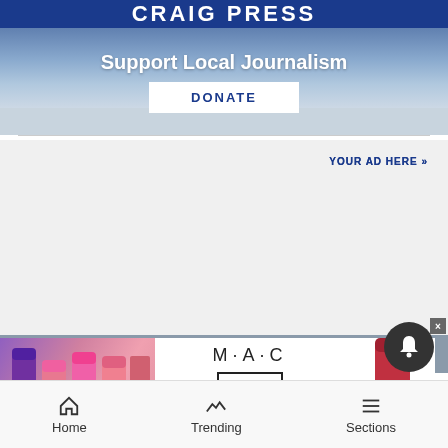[Figure (screenshot): Craig Press banner with blue top bar showing 'CRAIG PRESS' text, sky background with 'Support Local Journalism' headline and DONATE button]
YOUR AD HERE »
[Figure (screenshot): MAC cosmetics advertisement showing colorful lipsticks with MAC logo and SHOP NOW button]
Home   Trending   Sections